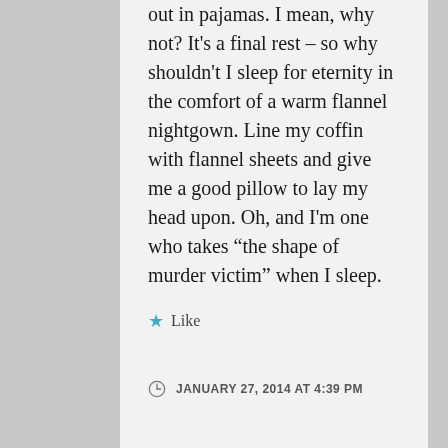out in pajamas. I mean, why not? It's a final rest – so why shouldn't I sleep for eternity in the comfort of a warm flannel nightgown. Line my coffin with flannel sheets and give me a good pillow to lay my head upon. Oh, and I'm one who takes "the shape of murder victim" when I sleep.
★ Like
JANUARY 27, 2014 AT 4:39 PM